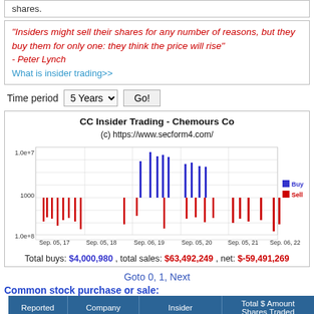shares.
"Insiders might sell their shares for any number of reasons, but they buy them for only one: they think the price will rise"
- Peter Lynch
What is insider trading>>
Time period  5 Years  Go!
[Figure (bar-chart): Vertical bar chart showing insider buy (blue) and sell (red) transactions over 5 years for Chemours Co (CC). X-axis: Sep.05,17 to Sep.06,22. Y-axis: log scale from 1.0e+8 to 1.0e+7 with 1000 labeled. Blue bars (buys) visible around Sep 2019-2020, Red bars (sells) throughout the period.]
Total buys: $4,000,980 , total sales: $63,492,249 , net: $-59,491,269
Goto 0, 1, Next
Common stock purchase or sale:
| Reported | Company | Insider | Total $ Amount
Shares Traded |
| --- | --- | --- | --- |